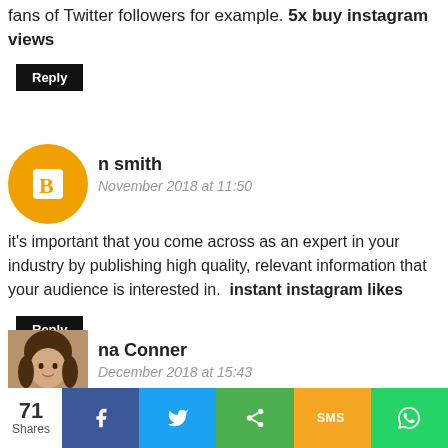fans of Twitter followers for example. 5x buy instagram views
Reply
n smith
November 2018 at 11:50
it's important that you come across as an expert in your industry by publishing high quality, relevant information that your audience is interested in. instant instagram likes
Reply
na Conner
December 2018 at 15:43
I'm constantly searching on the internet for posts that will help me. Too much is clearly to learn about this. I believe you created good quality items in Functions also. Keep working, congrats! onsist.com
Reply
71 Shares